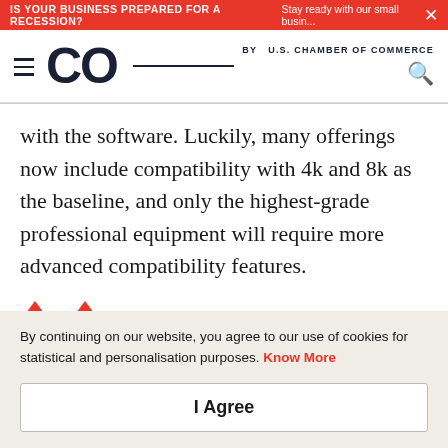IS YOUR BUSINESS PREPARED FOR A RECESSION? Stay ready with our small busin... ×
CO by U.S. CHAMBER OF COMMERCE
with the software. Luckily, many offerings now include compatibility with 4k and 8k as the baseline, and only the highest-grade professional equipment will require more advanced compatibility features.
By continuing on our website, you agree to our use of cookies for statistical and personalisation purposes. Know More
I Agree